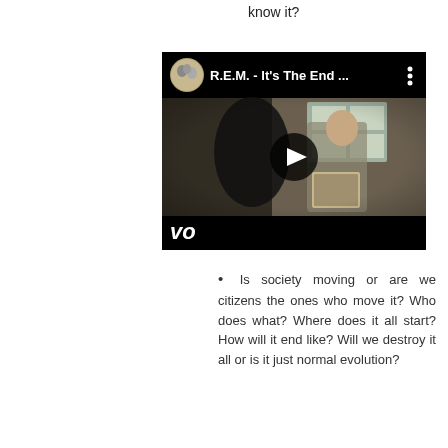know it?
[Figure (screenshot): YouTube video thumbnail for R.E.M. - It's The End ... with play button overlay and VEVO logo at bottom left]
Is society moving or are we citizens the ones who move it? Who does what? Where does it all start? How will it end like? Will we destroy it all or is it just normal evolution?